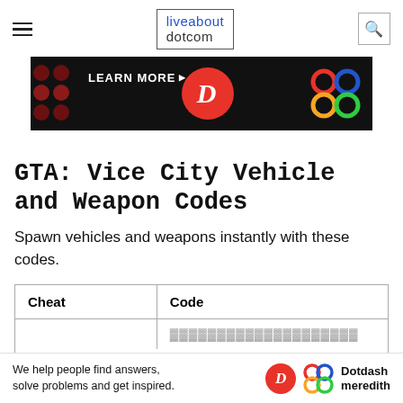liveabout dotcom
[Figure (illustration): Advertisement banner with dark background showing 'LEARN MORE' text with arrow, a red circle with white D logo, and a colorful knot/flower pattern on the right]
GTA: Vice City Vehicle and Weapon Codes
Spawn vehicles and weapons instantly with these codes.
| Cheat | Code |
| --- | --- |
|  |  |
[Figure (illustration): Bottom advertisement bar: 'We help people find answers, solve problems and get inspired.' with Dotdash Meredith logo]